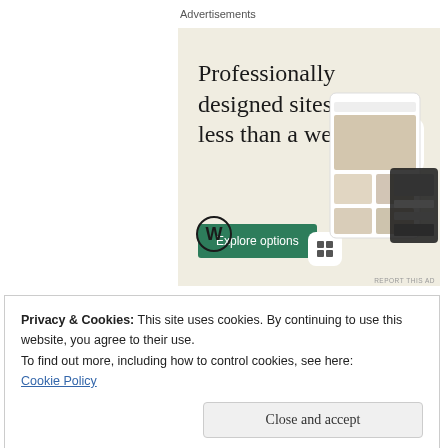Advertisements
[Figure (illustration): WordPress advertisement banner with beige/cream background. Large serif headline reads 'Professionally designed sites in less than a week'. Green button labeled 'Explore options'. WordPress logo (W in circle) bottom left. Screenshots of website designs on right side.]
REPORT THIS AD
Privacy & Cookies: This site uses cookies. By continuing to use this website, you agree to their use.
To find out more, including how to control cookies, see here:
Cookie Policy
Close and accept
Recent Posts